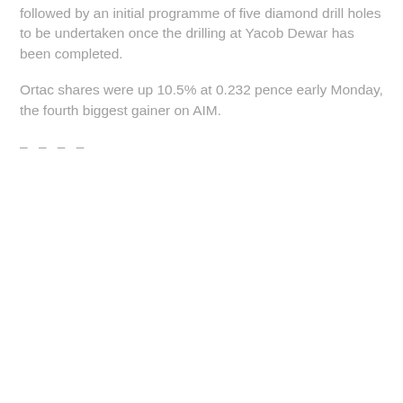followed by an initial programme of five diamond drill holes to be undertaken once the drilling at Yacob Dewar has been completed.
Ortac shares were up 10.5% at 0.232 pence early Monday, the fourth biggest gainer on AIM.
– – – –